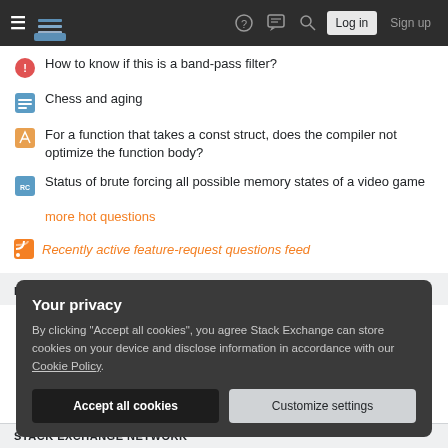Stack Exchange navigation bar with logo, help, chat, search, Log in, Sign up
How to know if this is a band-pass filter?
Chess and aging
For a function that takes a const struct, does the compiler not optimize the function body?
Status of brute forcing all possible memory states of a video game
more hot questions
Recently active feature-request questions feed
PARENTING META
Your privacy
By clicking "Accept all cookies", you agree Stack Exchange can store cookies on your device and disclose information in accordance with our Cookie Policy.
Accept all cookies   Customize settings
STACK EXCHANGE NETWORK